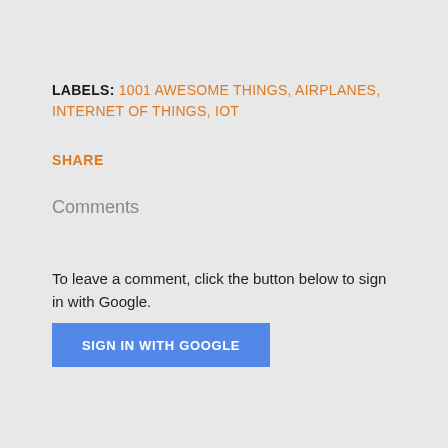LABELS: 1001 AWESOME THINGS, AIRPLANES, INTERNET OF THINGS, IOT
SHARE
Comments
To leave a comment, click the button below to sign in with Google.
SIGN IN WITH GOOGLE